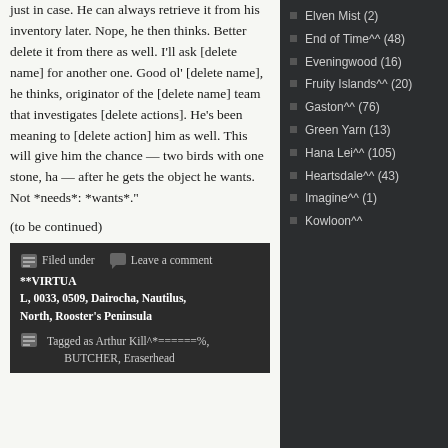just in case. He can always retrieve it from his inventory later. Nope, he then thinks. Better delete it from there as well. I'll ask [delete name] for another one. Good ol' [delete name], he thinks, originator of the [delete name] team that investigates [delete actions]. He's been meaning to [delete action] him as well. This will give him the chance — two birds with one stone, ha — after he gets the object he wants. Not *needs*: *wants*."
(to be continued)
Filed under   Leave a comment **VIRTUAL, 0033, 0509, Dairocha, Nautilus, North, Rooster's Peninsula
Tagged as Arthur Kill^*======%, BUTCHER, Eraserhead
Elven Mist (2)
End of Time^^ (48)
Eveningwood (16)
Fruity Islands^^ (20)
Gaston^^ (76)
Green Yarn (13)
Hana Lei^^ (105)
Heartsdale^^ (43)
Imagine^^ (1)
Kowloon^^